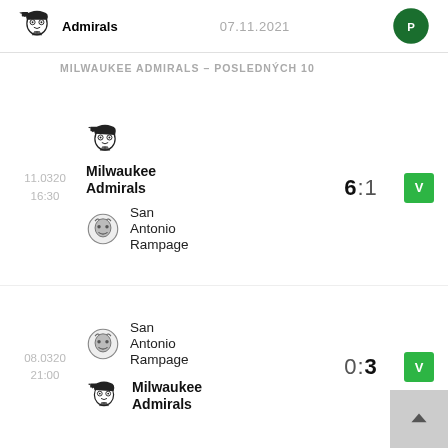Admirals  07.11.2021
MILWAUKEE ADMIRALS – POSLEDNÝCH 10
11.0320 16:30  Milwaukee Admirals vs San Antonio Rampage  6:1  V
08.0320 21:00  San Antonio Rampage vs Milwaukee Admirals  0:3  V